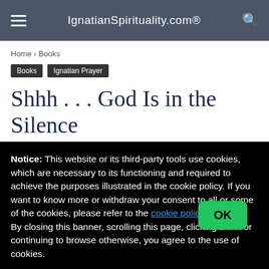IgnatianSpirituality.com®
Home › Books
Books
Ignatian Prayer
Shhh . . . God Is in the Silence
By Vinita Hampton Wright
Notice: This website or its third-party tools use cookies, which are necessary to its functioning and required to achieve the purposes illustrated in the cookie policy. If you want to know more or withdraw your consent to all or some of the cookies, please refer to the cookie policy.
By closing this banner, scrolling this page, clicking a link or continuing to browse otherwise, you agree to the use of cookies.